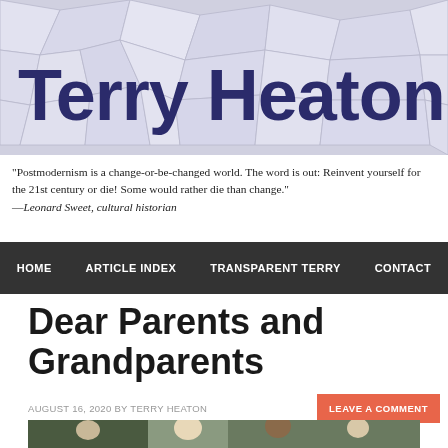Terry Heaton's Po
"Postmodernism is a change-or-be-changed world. The word is out: Reinvent yourself for the 21st century or die! Some would rather die than change." —Leonard Sweet, cultural historian
HOME   ARTICLE INDEX   TRANSPARENT TERRY   CONTACT
Dear Parents and Grandparents
AUGUST 16, 2020 BY TERRY HEATON
LEAVE A COMMENT
[Figure (photo): Group family photo with adults and children of diverse backgrounds outdoors with trees in background]